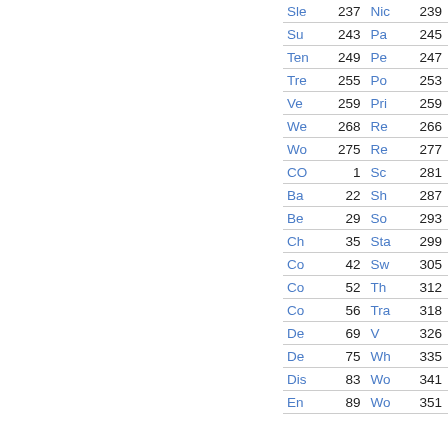| Entry | Page | Entry | Page |
| --- | --- | --- | --- |
| Sle | 237 | Nic | 239 |
| Su | 243 | Pa | 245 |
| Ten | 249 | Pe | 247 |
| Tre | 255 | Po | 253 |
| Ve | 259 | Pri | 259 |
| We | 268 | Re | 266 |
| Wo | 275 | Re | 277 |
| CO | 1 | Sc | 281 |
| Ba | 22 | Sh | 287 |
| Be | 29 | So | 293 |
| Ch | 35 | Sta | 299 |
| Co | 42 | Sw | 305 |
| Co | 52 | Th | 312 |
| Co | 56 | Tra | 318 |
| De | 69 | V | 326 |
| De | 75 | Wh | 335 |
| Dis | 83 | Wo | 341 |
| En | 89 | Wo | 351 |